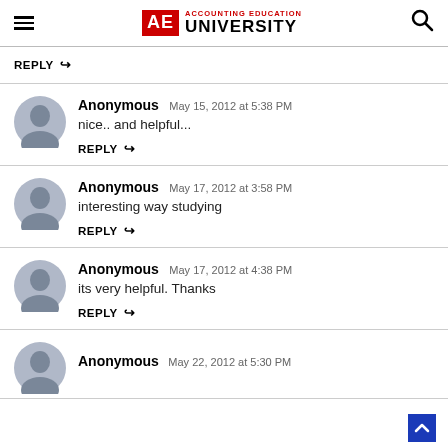AE Accounting Education University
REPLY
Anonymous May 15, 2012 at 5:38 PM
nice.. and helpful...
REPLY
Anonymous May 17, 2012 at 3:58 PM
interesting way studying
REPLY
Anonymous May 17, 2012 at 4:38 PM
its very helpful. Thanks
REPLY
Anonymous May 22, 2012 at 5:30 PM